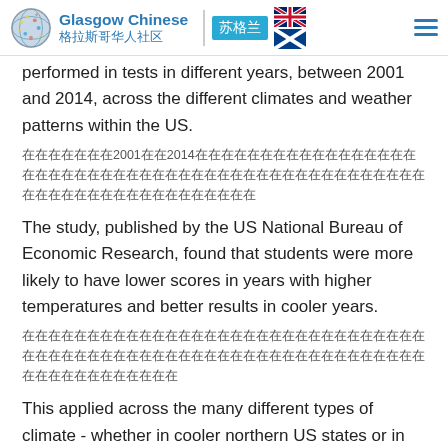Glasgow Chinese 格拉斯哥华人社区 | 苏格兰
performed in tests in different years, between 2001 and 2014, across the different climates and weather patterns within the US.
（中文）在2001到2014年间，在美国不同气候和天气模式下进行的测试中表现出来的。
The study, published by the US National Bureau of Economic Research, found that students were more likely to have lower scores in years with higher temperatures and better results in cooler years.
（中文）该研究发现，在气温较高的年份，学生的成绩更可能较低，而在较凉爽的年份则成绩更好。
This applied across the many different types of climate - whether in cooler northern US states or in the southern states where temperatures are typically much higher.